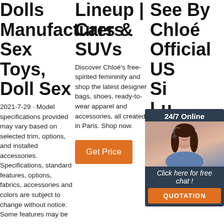Dolls Manufacturers Sex Toys, Doll Sex
2021-7-29 · Model specifications provided may vary based on selected trim, options, and installed accessories. Specifications, standard features, options, fabrics, accessories and colors are subject to change without notice. Some features may be
Lineup | Cars & SUVs
Discover Chloé's free-spirited femininity and shop the latest designer bags, shoes, ready-to-wear apparel and accessories, all created in Paris. Shop now.
[Figure (other): Orange Get Price button]
See By Chloé Official US Si Lu
Free for c 3ds, blen poly gam
[Figure (other): Chat popup with agent photo, 24/7 Online label, Click here for free chat!, and QUOTATION orange button]
[Figure (other): Orange Get Price button with TOP badge]